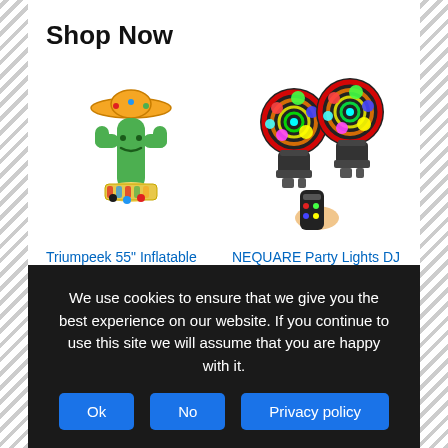Shop Now
[Figure (photo): Triumpeek 55 inch Inflatable Cactus Cooler product image — cartoon cactus with sombrero]
Triumpeek 55" Inflatable Cactus Cooler, Fiest...
$24.80 ✓prime
★★★★½ (171)
[Figure (photo): NEQUARE Party Lights DJ Disco Ball Strobe lights product image — two colorful disco ball spotlights with remote]
NEQUARE Party Lights DJ Disco Ball Strob...
$13.96 $30.99 ✓prime
★★★★½ (4175)
[Figure (photo): Bottom-left product image — dark/black product]
[Figure (photo): Bottom-right product image — colorful product]
We use cookies to ensure that we give you the best experience on our website. If you continue to use this site we will assume that you are happy with it.
Ok
No
Privacy policy